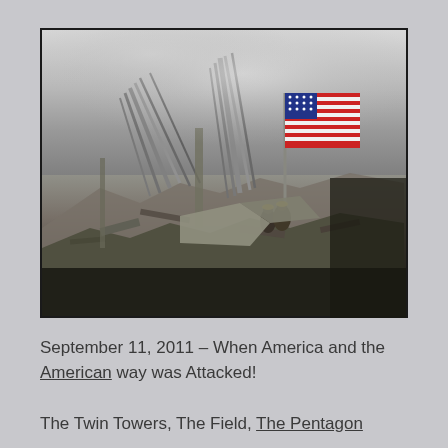[Figure (photo): Photograph showing firefighters raising an American flag amid the rubble and debris of the September 11, 2001 World Trade Center attack site, with twisted steel beams and smoke visible in the background.]
September 11, 2011 – When America and the American way was Attacked!
The Twin Towers, The Field, The Pentagon